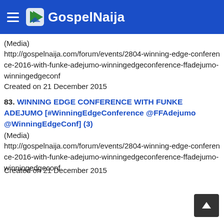GospelNaija
(Media)
http://gospelnaija.com/forum/events/2804-winning-edge-conference-2016-with-funke-adejumo-winningedgeconference-ffadejumo-winningedgeconf
Created on 21 December 2015
83. WINNING EDGE CONFERENCE WITH FUNKE ADEJUMO [#WinningEdgeConference @FFAdejumo @WinningEdgeConf] (3)
(Media)
http://gospelnaija.com/forum/events/2804-winning-edge-conference-2016-with-funke-adejumo-winningedgeconference-ffadejumo-winningedgeconf
Created on 21 December 2015